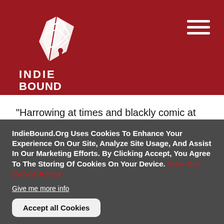[Figure (logo): IndieBound logo: white feather/book design with INDIEBOUND text on dark red background]
“Harrowing at times and blackly comic at others, the author’s first collection could become for the Iraq and Afghanistan conflicts what Tim O’Brien’s The Things They Carried is for the Vietnam War.” — Lawrence Rungren, Library Journal
IndieBound.Org Uses Cookies To Enhance Your Experience On Our Site, Analyze Site Usage, And Assist In Our Marketing Efforts. By Clicking Accept, You Agree To The Storing Of Cookies On Your Device. View Our Cookie Policy.
Give me more info
Accept all Cookies